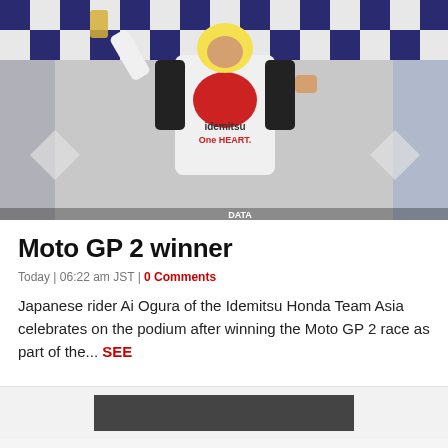[Figure (photo): A motorcycle racer in white, black and red Idemitsu Honda Team Asia leathers wearing a yellow cap holds a trophy aloft and celebrates on the podium with checkered flag backdrop.]
Moto GP 2 winner
Today | 06:22 am JST | 0 Comments
Japanese rider Ai Ogura of the Idemitsu Honda Team Asia celebrates on the podium after winning the Moto GP 2 race as part of the... SEE